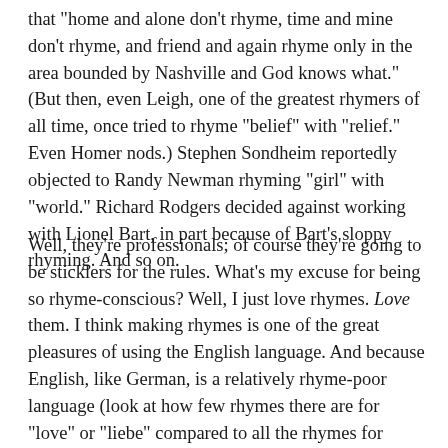that "home and alone don't rhyme, time and mine don't rhyme, and friend and again rhyme only in the area bounded by Nashville and God knows what." (But then, even Leigh, one of the greatest rhymers of all time, once tried to rhyme "belief" with "relief." Even Homer nods.) Stephen Sondheim reportedly objected to Randy Newman rhyming "girl" with "world." Richard Rodgers decided against working with Lionel Bart, in part because of Bart's sloppy rhyming. And so on.
Well, they're professionals; of course they're going to be sticklers for the rules. What's my excuse for being so rhyme-conscious? Well, I just love rhymes. Love them. I think making rhymes is one of the great pleasures of using the English language. And because English, like German, is a relatively rhyme-poor language (look at how few rhymes there are for "love" or "liebe" compared to all the rhymes for "amour" or "amore"), rhyming is difficult; it's a challenge to say something coherent and interesting while also making the words fit music and come up with rhymes all the time. Part of the fun of listening to an English song lyric, then, is the sense of the writer overcoming a challenge. Anything that